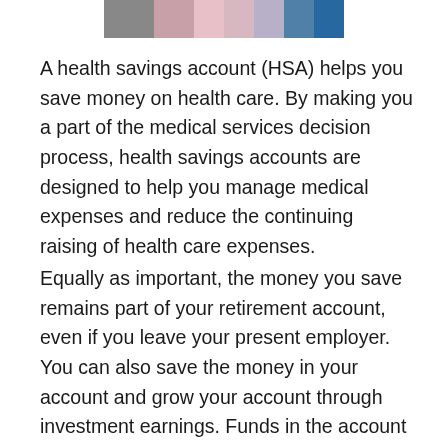[Figure (photo): Partial photo of people, cropped at top of page]
A health savings account (HSA) helps you save money on health care. By making you a part of the medical services decision process, health savings accounts are designed to help you manage medical expenses and reduce the continuing raising of health care expenses.
Equally as important, the money you save remains part of your retirement account, even if you leave your present employer. You can also save the money in your account and grow your account through investment earnings. Funds in the account can grow tax-free through investment earnings, just like an IRA. In short, if you don't use all the money in your HSA for medical expenses, it can accumulate as tax-free savings for your retirement. One final benefit, HSAs can pay for many more